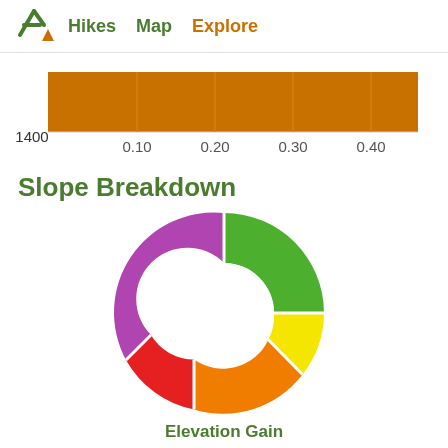Hikes  Map  Explore
[Figure (bar-chart): Elevation bar]
Slope Breakdown
[Figure (donut-chart): Slope Breakdown]
Elevation Gain